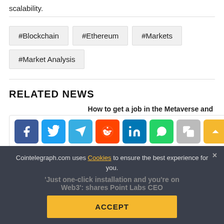scalability.
#Blockchain
#Ethereum
#Markets
#Market Analysis
RELATED NEWS
How to get a job in the Metaverse and
[Figure (infographic): Social share bar with Facebook, Twitter, Telegram, Reddit, LinkedIn, WhatsApp, Copy, and scroll-up buttons]
'Just one-click installation and you're on Web3': shares Point Labs CEO
Cointelegraph.com uses Cookies to ensure the best experience for you.
ACCEPT